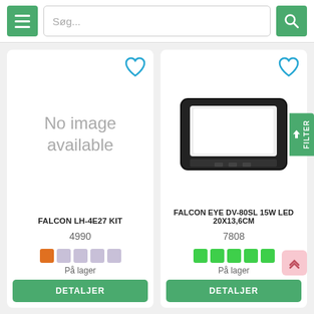[Figure (screenshot): Website header with hamburger menu button, search bar with placeholder text 'Søg...', and green search button with magnifying glass icon]
[Figure (screenshot): Product card showing 'No image available' placeholder with heart/favorite icon for FALCON LH-4E27 KIT]
FALCON LH-4E27 KIT
4990
På lager
DETALJER
[Figure (photo): Product image of a black rectangular LED lamp/floodlight panel for FALCON EYE DV-80SL 15W LED 20X13,6CM]
FALCON EYE DV-80SL 15W LED 20X13,6CM
7808
På lager
DETALJER